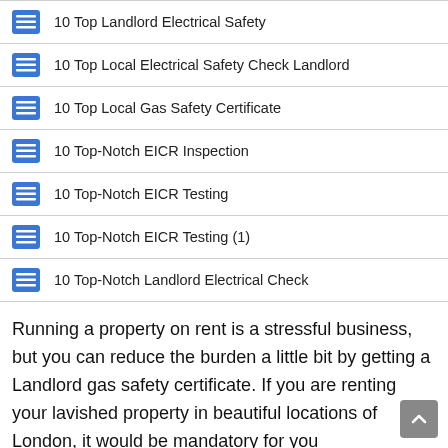10 Top Landlord Electrical Safety
10 Top Local Electrical Safety Check Landlord
10 Top Local Gas Safety Certificate
10 Top-Notch EICR Inspection
10 Top-Notch EICR Testing
10 Top-Notch EICR Testing (1)
10 Top-Notch Landlord Electrical Check
Running a property on rent is a stressful business, but you can reduce the burden a little bit by getting a Landlord gas safety certificate. If you are renting your lavished property in beautiful locations of London, it would be mandatory for you